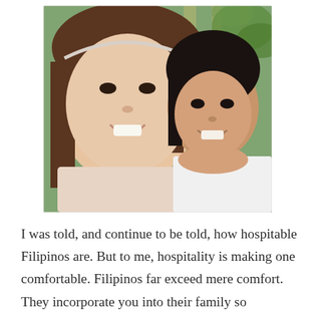[Figure (photo): A selfie photo of a young Caucasian woman smiling alongside a young Filipino girl who is resting her chin/cheek on the woman's shoulder and also smiling. Green bamboo and foliage visible in the background.]
I was told, and continue to be told, how hospitable Filipinos are. But to me, hospitality is making one comfortable. Filipinos far exceed mere comfort. They incorporate you into their family so immediately, and